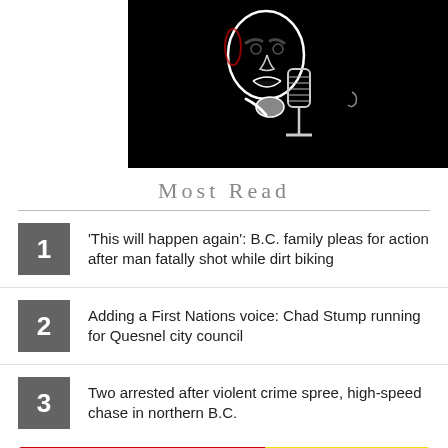[Figure (illustration): Cartoon illustration of a bald man speaking into a vintage microphone, white line art on black background]
Most Read
1. 'This will happen again': B.C. family pleas for action after man fatally shot while dirt biking
2. Adding a First Nations voice: Chad Stump running for Quesnel city council
3. Two arrested after violent crime spree, high-speed chase in northern B.C.
[Figure (illustration): Save-On-Foods Saver Days advertisement banner with red left side showing 'Saver days' text and 'SHOP NOW' button, yellow right side with 'save on foods' logo]